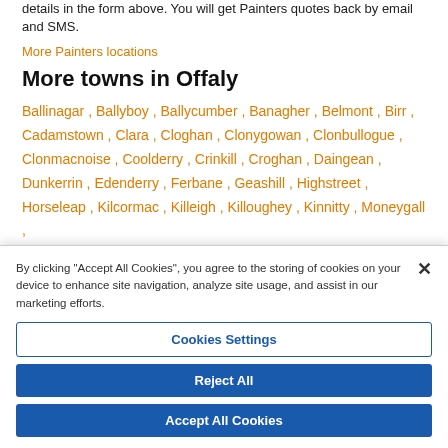details in the form above. You will get Painters quotes back by email and SMS.
More Painters locations
More towns in Offaly
Ballinagar , Ballyboy , Ballycumber , Banagher , Belmont , Birr , Cadamstown , Clara , Cloghan , Clonygowan , Clonbullogue , Clonmacnoise , Coolderry , Crinkill , Croghan , Daingean , Dunkerrin , Edenderry , Ferbane , Geashill , Highstreet , Horseleap , Kilcormac , Killeigh , Killoughey , Kinnitty , Moneygall ,
By clicking "Accept All Cookies", you agree to the storing of cookies on your device to enhance site navigation, analyze site usage, and assist in our marketing efforts.
Cookies Settings
Reject All
Accept All Cookies